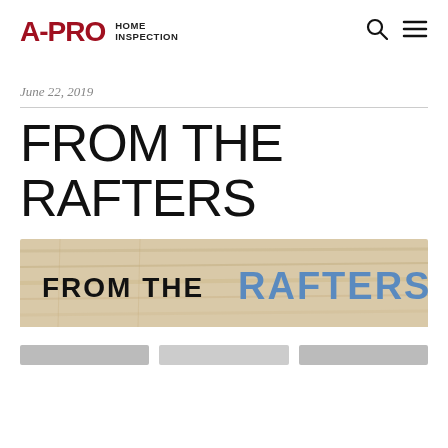A-PRO HOME INSPECTION
June 22, 2019
FROM THE RAFTERS
[Figure (illustration): Banner image with wooden background showing text FROM THE RAFTERS, where RAFTERS is in blue bold letters]
[Figure (other): Partial bottom row of navigation or thumbnail images cropped at bottom]